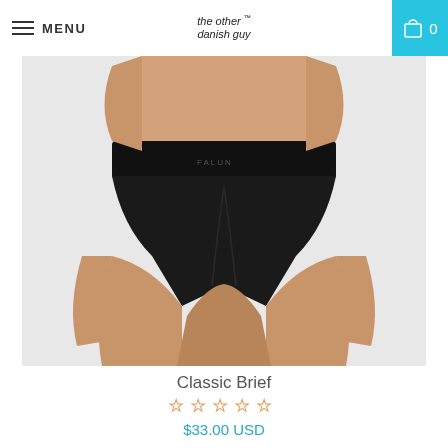MENU | the other danish guy | 0
[Figure (photo): Front view of a male model wearing black classic brief underwear with branded waistband, against a light background. Cropped from torso to upper thigh.]
Classic Brief
☆☆☆☆☆
$33.00 USD